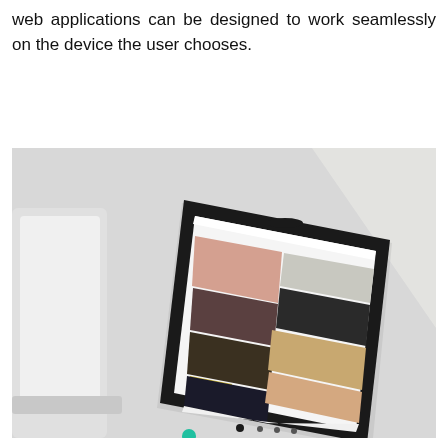web applications can be designed to work seamlessly on the device the user chooses.
[Figure (photo): A smartphone displaying a Pinterest-like grid of photos on its screen, lying at an angle on a white desk surface next to a white laptop. The phone is in a black case. The screen shows a photo grid with interior, food, and lifestyle images. Bright natural light creates shadows across the scene.]